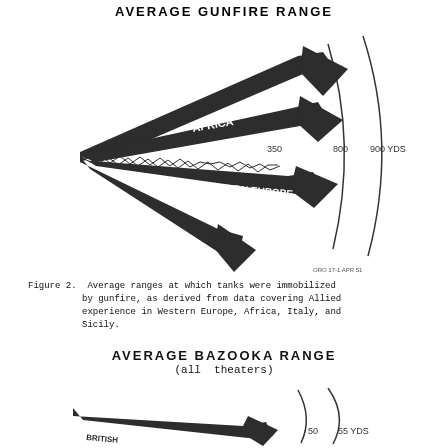AVERAGE GUNFIRE RANGE
[Figure (infographic): Fan-shaped arrow diagram showing average gunfire ranges for different theaters: AVERAGE (top arrow), AFRICA (middle arrow), WESTERN EUROPE (lower arrow), ITALY & SICILY (bottom arrow). Range markers at 350, 800, and 900 YDS on a curved arc scale. Small text reads ORO 17-1 APR 51.]
Figure 2.  Average ranges at which tanks were immobilized by gunfire, as derived from data covering Allied experience in Western Europe, Africa, Italy, and Sicily.
AVERAGE BAZOOKA RANGE
(all  theaters)
[Figure (infographic): Partial fan-shaped arrow diagram showing average bazooka range for all theaters. Range markers at 35, 50, and 55 YDS on a curved arc scale. Partially visible arrow at bottom.]